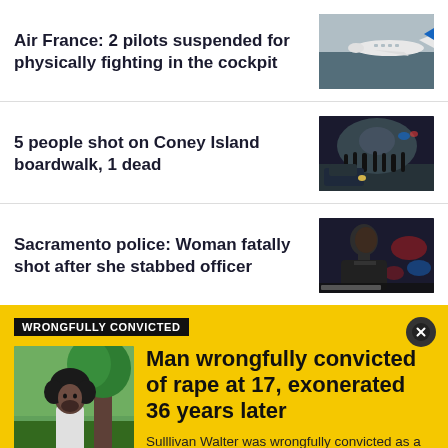Air France: 2 pilots suspended for physically fighting in the cockpit
[Figure (photo): Air France airplane on tarmac]
5 people shot on Coney Island boardwalk, 1 dead
[Figure (photo): Nighttime crowd scene with emergency response]
Sacramento police: Woman fatally shot after she stabbed officer
[Figure (photo): Police officer at press briefing with red/blue lights behind]
WRONGFULLY CONVICTED
[Figure (photo): Man standing outside near a tree]
Man wrongfully convicted of rape at 17, exonerated 36 years later
Sulllivan Walter was wrongfully convicted as a teenager for a New Orleans rape in 1986. He was ordered freed after a judge threw out his conviction.